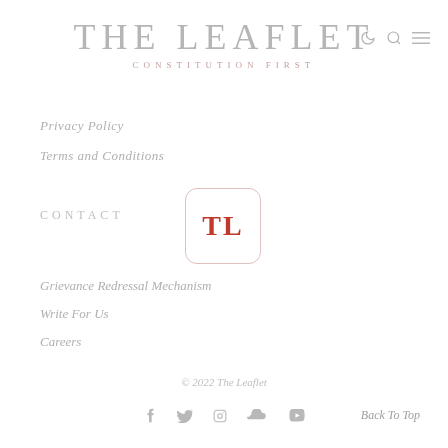THE LEAFLET
CONSTITUTION FIRST
Privacy Policy
Terms and Conditions
CONTACT
[Figure (logo): TL logo — red bold letters TL inside a rounded rectangle border]
Grievance Redressal Mechanism
Write For Us
Careers
© 2022 The Leaflet
Social icons: Facebook, Twitter, Instagram, SoundCloud, YouTube | Back To Top